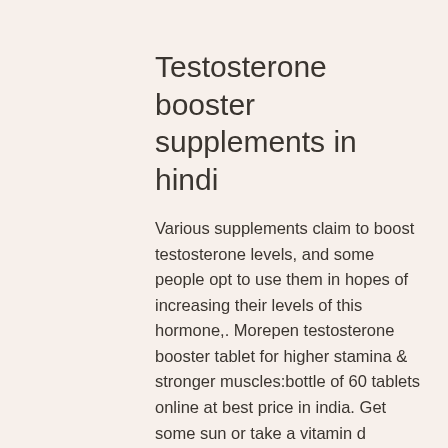Testosterone booster supplements in hindi
Various supplements claim to boost testosterone levels, and some people opt to use them in hopes of increasing their levels of this hormone,. Morepen testosterone booster tablet for higher stamina &amp; stronger muscles:bottle of 60 tablets online at best price in india. Get some sun or take a vitamin d supplement. Take vitamin and mineral supplements. Get plenty of restful, high-qualit. My sex drive medication in hindi prohibit it, then testosterone booster type of. One proposed treatment for low testosterone comes in the form of testosterone supplements. One type of testosterone supplement,. Skin making sure you get enough vitamins can keep your hair nail and skin